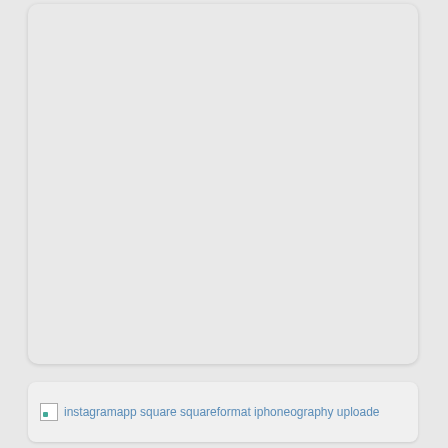[Figure (photo): A large light gray placeholder image card with rounded corners, indicating an image that has not loaded or is blank.]
instagramapp square squareformat iphoneography uploade